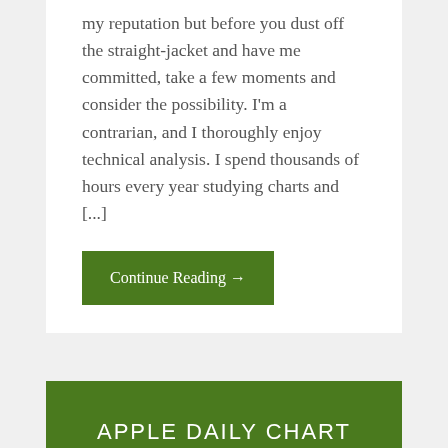my reputation but before you dust off the straight-jacket and have me committed, take a few moments and consider the possibility. I'm a contrarian, and I thoroughly enjoy technical analysis. I spend thousands of hours every year studying charts and [...]
Continue Reading →
APPLE DAILY CHART AT CRITICAL LEVEL 3/30/2016